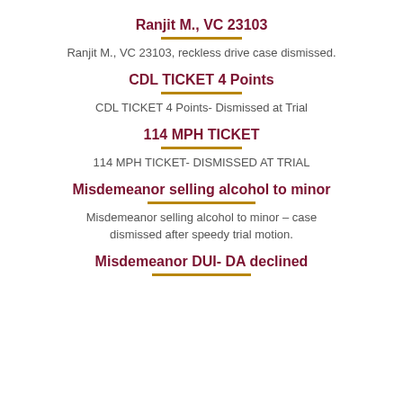Ranjit M., VC 23103
Ranjit M., VC 23103, reckless drive case dismissed.
CDL TICKET 4 Points
CDL TICKET 4 Points- Dismissed at Trial
114 MPH TICKET
114 MPH TICKET- DISMISSED AT TRIAL
Misdemeanor selling alcohol to minor
Misdemeanor selling alcohol to minor – case dismissed after speedy trial motion.
Misdemeanor DUI- DA declined